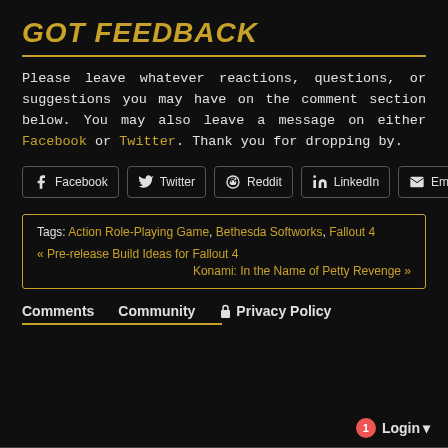GOT FEEDBACK
Please leave whatever reactions, questions, or suggestions you may have on the comment section below. You may also leave a message on either Facebook or Twitter. Thank you for dropping by.
[Figure (infographic): Row of social share buttons: Facebook, Twitter, Reddit, LinkedIn, Email]
Tags: Action Role-Playing Game, Bethesda Softworks, Fallout 4
« Pre-release Build Ideas for Fallout 4
Konami: In the Name of Petty Revenge »
Comments  Community  Privacy Policy
1  Login ▾